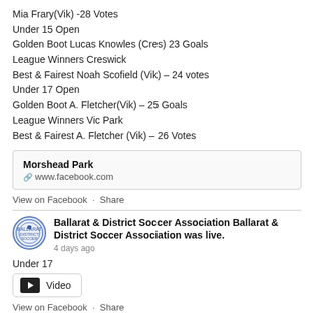Mia Frary(Vik) -28 Votes
Under 15 Open
Golden Boot Lucas Knowles (Cres) 23 Goals
League Winners Creswick
Best & Fairest Noah Scofield (Vik) – 24 votes
Under 17 Open
Golden Boot A. Fletcher(Vik) – 25 Goals
League Winners Vic Park
Best & Fairest A. Fletcher (Vik) – 26 Votes
[Figure (screenshot): Facebook post preview box showing Morshead Park with www.facebook.com link]
View on Facebook · Share
[Figure (logo): Ballarat & District Soccer Association circular logo]
Ballarat & District Soccer Association Ballarat & District Soccer Association was live.
4 days ago
Under 17
[Figure (screenshot): Video button with camera icon and label Video]
View on Facebook · Share